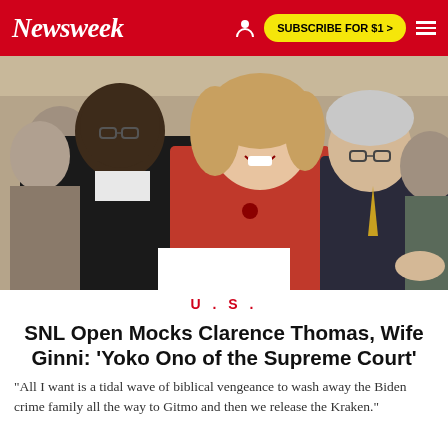Newsweek | SUBSCRIBE FOR $1 >
[Figure (photo): Group of people seated and laughing, including a Black man in a dark suit, a woman in a red jacket with blonde hair, and an older man with glasses, at what appears to be an event or ceremony]
U.S.
SNL Open Mocks Clarence Thomas, Wife Ginni: 'Yoko Ono of the Supreme Court'
"All I want is a tidal wave of biblical vengeance to wash away the Biden crime family all the way to Gitmo and then we release the Kraken."